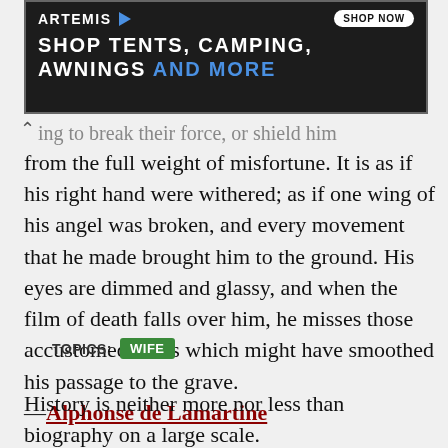[Figure (other): Advertisement banner for Artemis outdoor products. Dark/rocky background. Logo reads 'ARTEMIS' with blue arrow. Button 'SHOP NOW'. Text: 'SHOP TENTS, CAMPING, AWNINGS AND MORE' where AND MORE is in blue.]
from the full weight of misfortune. It is as if his right hand were withered; as if one wing of his angel was broken, and every movement that he made brought him to the ground. His eyes are dimmed and glassy, and when the film of death falls over him, he misses those accustomed tones which might have smoothed his passage to the grave.
—Alphonse de Lamartine
TOPICS: WIFE
History is neither more nor less than biography on a large scale.